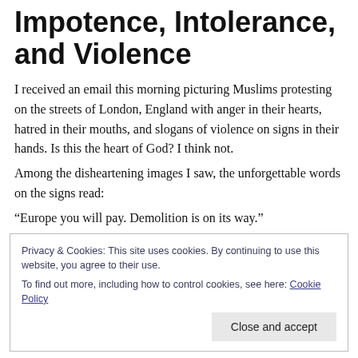Impotence, Intolerance, and Violence
I received an email this morning picturing Muslims protesting on the streets of London, England with anger in their hearts, hatred in their mouths, and slogans of violence on signs in their hands. Is this the heart of God? I think not.
Among the disheartening images I saw, the unforgettable words on the signs read:
“Europe you will pay. Demolition is on its way.”
Privacy & Cookies: This site uses cookies. By continuing to use this website, you agree to their use.
To find out more, including how to control cookies, see here: Cookie Policy
Close and accept
Europe who some lessons from 9/11.